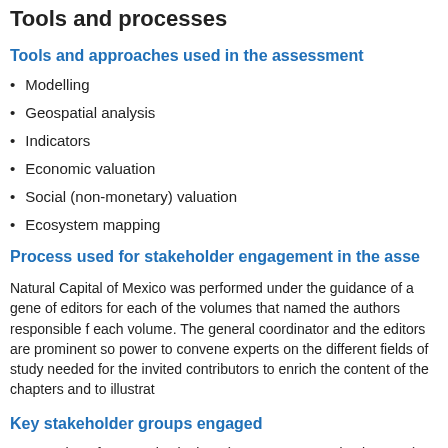Tools and processes
Tools and approaches used in the assessment
Modelling
Geospatial analysis
Indicators
Economic valuation
Social (non-monetary) valuation
Ecosystem mapping
Process used for stakeholder engagement in the asse
Natural Capital of Mexico was performed under the guidance of a gene of editors for each of the volumes that named the authors responsible f each volume. The general coordinator and the editors are prominent so power to convene experts on the different fields of study needed for the invited contributors to enrich the content of the chapters and to illustrat
Key stakeholder groups engaged
648 authors from 227 institutions (government, academia, NGO)  •  S